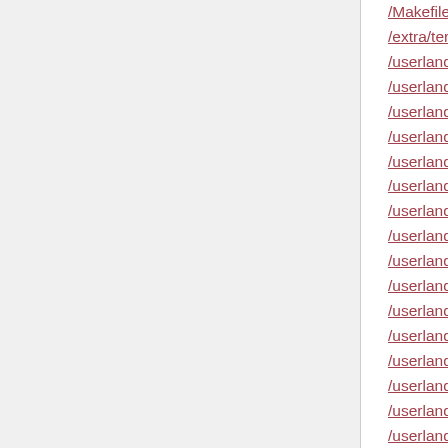/Makefile, line 38
/extra/termslave.c, line 68
/userland/banner.c, line 121
/userland/blktest.c, line 189
/userland/chartest.c, line 33
/userland/crt.c, line 39
/userland/crt.c, line 45
/userland/fstest.c, line 35
/userland/init.c, line 29
/userland/myprog1.c, line 26
/userland/myprog10.c, line 33
/userland/myprog11.c, line 35
/userland/myprog12.c, line 33
/userland/myprog13.c, line 30
/userland/myprog14.c, line 38
/userland/myprog2.c, line 26
/userland/myprog3.c, line 26
/userland/myprog4.c, line 26
/userland/myprog5.c, line 26
/userland/myprog6.c, line 26
/userland/myprog7.c, line 41
/userland/myprog8.c, line 30